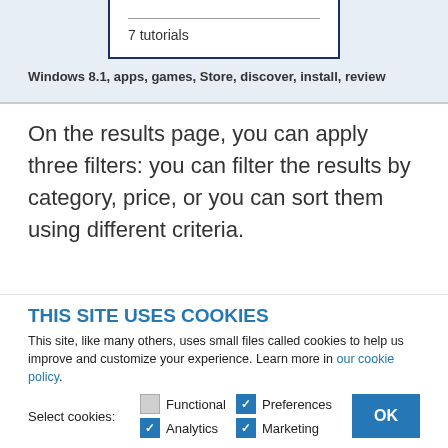7 tutorials
Windows 8.1, apps, games, Store, discover, install, review
On the results page, you can apply three filters: you can filter the results by category, price, or you can sort them using different criteria.
THIS SITE USES COOKIES
This site, like many others, uses small files called cookies to help us improve and customize your experience. Learn more in our cookie policy.
Select cookies: Functional Preferences Analytics Marketing OK